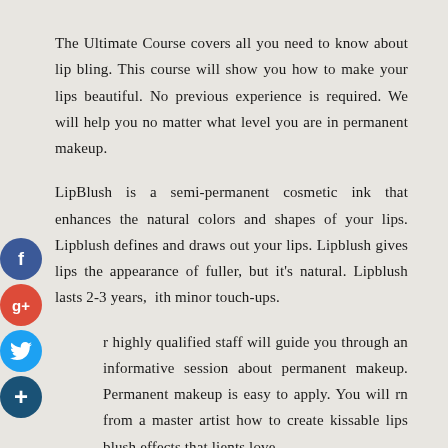The Ultimate Course covers all you need to know about lip bling. This course will show you how to make your lips beautiful. No previous experience is required. We will help you no matter what level you are in permanent makeup.
LipBlush is a semi-permanent cosmetic ink that enhances the natural colors and shapes of your lips. Lipblush defines and draws out your lips. Lipblush gives lips the appearance of fuller, but it's natural. Lipblush lasts 2-3 years, with minor touch-ups.
Our highly qualified staff will guide you through an informative session about permanent makeup. Permanent makeup is easy to apply. You will learn from a master artist how to create kissable lips blush effects that clients love.
This course covers all aspects of pre-to-post treatments, consultation, machine selection, color theory, and hands movements as well as common